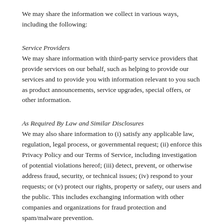We may share the information we collect in various ways, including the following:
Service Providers
We may share information with third-party service providers that provide services on our behalf, such as helping to provide our services and to provide you with information relevant to you such as product announcements, service upgrades, special offers, or other information.
As Required By Law and Similar Disclosures
We may also share information to (i) satisfy any applicable law, regulation, legal process, or governmental request; (ii) enforce this Privacy Policy and our Terms of Service, including investigation of potential violations hereof; (iii) detect, prevent, or otherwise address fraud, security, or technical issues; (iv) respond to your requests; or (v) protect our rights, property or safety, our users and the public. This includes exchanging information with other companies and organizations for fraud protection and spam/malware prevention.